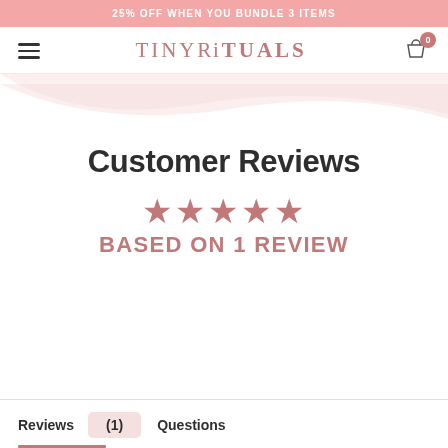25% OFF WHEN YOU BUNDLE 3 ITEMS
[Figure (logo): TINYRiTUALS logo with hamburger menu and cart icon showing 0 items]
[Figure (illustration): Decorative wave/curve background decoration in light pink]
Customer Reviews
★★★★★
BASED ON 1 REVIEW
Reviews (1) Questions